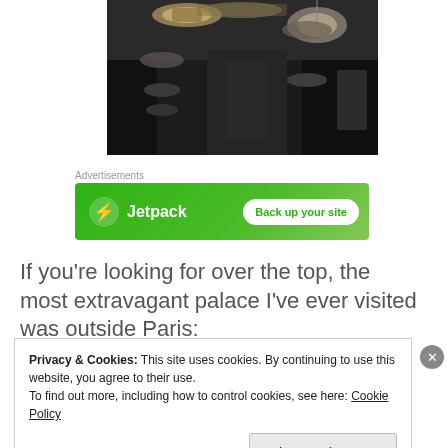[Figure (photo): Interior architectural photo showing ornate baroque ceiling details, chandeliers, and decorative columns in dark tones with gold and silver accents]
Advertisements
[Figure (other): Jetpack advertisement banner with green background showing Jetpack logo and 'Back up your site' button]
If you're looking for over the top, the most extravagant palace I've ever visited was outside Paris:
Privacy & Cookies: This site uses cookies. By continuing to use this website, you agree to their use.
To find out more, including how to control cookies, see here: Cookie Policy